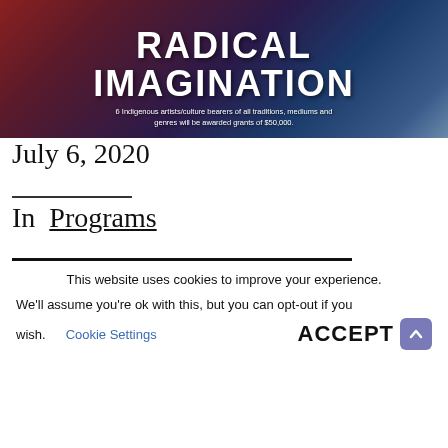[Figure (illustration): Banner image with colorful abstract background (blues, reds, purples) and large white bold text 'RADICAL IMAGINATION' with subtitle '6 Indigenous artists/culture bearers of all traditions, mediums and genres will be awarded grants of $50,000.']
July 6, 2020
In Programs
This website uses cookies to improve your experience. We'll assume you're ok with this, but you can opt-out if you wish. Cookie Settings ACCEPT